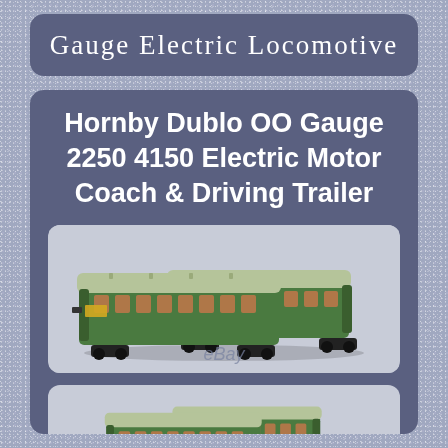Gauge Electric Locomotive
Hornby Dublo OO Gauge 2250 4150 Electric Motor Coach & Driving Trailer
[Figure (photo): Two green Hornby Dublo OO gauge electric motor coach and driving trailer model trains on a light grey background, with eBay watermark]
[Figure (photo): Close-up view of two green Hornby Dublo OO gauge model train coaches, partially cropped at bottom]